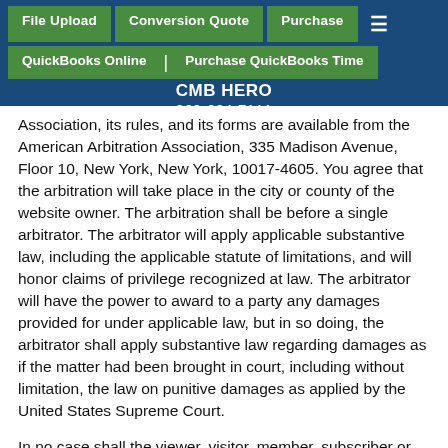File Upload | Conversion Quote | Purchase | QuickBooks Online | Purchase QuickBooks Time | CMB HERO | 262-664-7111
Association, its rules, and its forms are available from the American Arbitration Association, 335 Madison Avenue, Floor 10, New York, New York, 10017-4605. You agree that the arbitration will take place in the city or county of the website owner. The arbitration shall be before a single arbitrator. The arbitrator will apply applicable substantive law, including the applicable statute of limitations, and will honor claims of privilege recognized at law. The arbitrator will have the power to award to a party any damages provided for under applicable law, but in so doing, the arbitrator shall apply substantive law regarding damages as if the matter had been brought in court, including without limitation, the law on punitive damages as applied by the United States Supreme Court.
In no case shall the viewer, visitor, member, subscriber or customer have the right to go to court or have a jury trial.